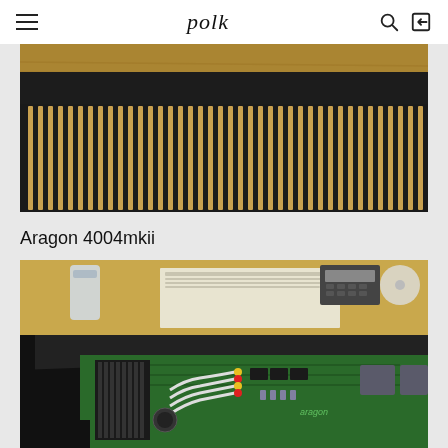polk
[Figure (photo): Close-up top-down photo of a black amplifier heat sink with evenly spaced fins revealing a wood grain surface beneath, sitting on a wooden table. A screw/knob is visible at the top left corner.]
Aragon 4004mkii
[Figure (photo): Photo of an open Aragon 4004mkii amplifier showing internal circuitry: a green circuit board labeled 'aragon' with colored wires (white, red, yellow), capacitors, a heat sink, and relays. A wooden desk in the background holds manuals, a calculator, and other items.]